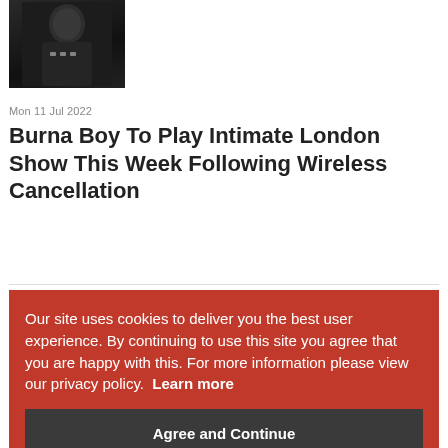[Figure (photo): Black and white photo of Burna Boy wearing chains/jewelry, cropped at top of page]
Mon 11 Jul 2022
Burna Boy To Play Intimate London Show This Week Following Wireless Cancellation
Fri 08 Jul 2022
Burna Boy... For...
Mon 04 Jul 2022
Burna Boy Announces North American Love, Damini Tour For Summer
Wed 30 Mar 2022
Burna Boy Posts Wizkid Collaboration Bello DJ...
Our site uses cookies to deliver you the best user experience. By continuing to use this site you agree that you are happy with this. For more information please view our privacy policy. Learn more
Agree and Continue